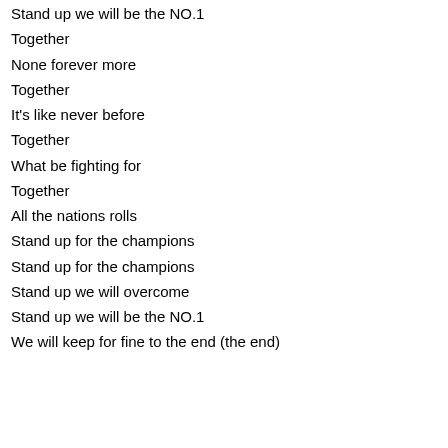Stand up we will be the NO.1
Together
None forever more
Together
It's like never before
Together
What be fighting for
Together
All the nations rolls
Stand up for the champions
Stand up for the champions
Stand up we will overcome
Stand up we will be the NO.1
We will keep for fine to the end (the end)